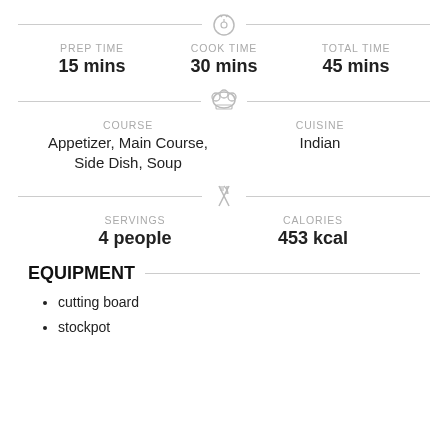PREP TIME: 15 mins | COOK TIME: 30 mins | TOTAL TIME: 45 mins
COURSE: Appetizer, Main Course, Side Dish, Soup | CUISINE: Indian
SERVINGS: 4 people | CALORIES: 453 kcal
EQUIPMENT
cutting board
stockpot